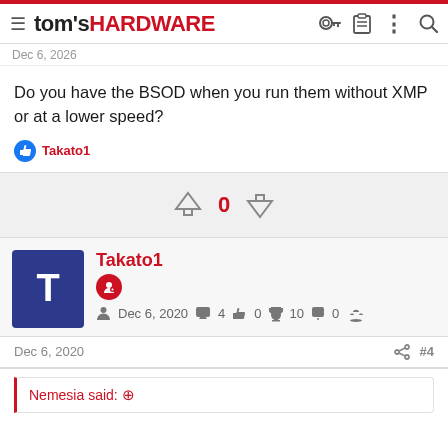tom's HARDWARE
Dec 6, 2020
Do you have the BSOD when you run them without XMP or at a lower speed?
Takato1
[Figure (other): Vote up/down arrows with count 0]
Takato1 — Dec 6, 2020 — 4 posts, 0 likes, 10 trophy points, 0 alerts
Dec 6, 2020  #4
Nemesia said: